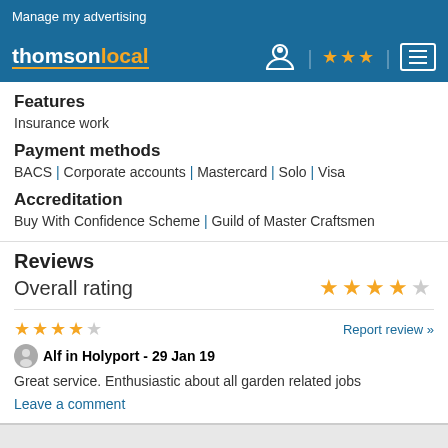Manage my advertising
[Figure (logo): thomsonlocal logo with navigation icons (person/location pin, 3 stars, hamburger menu)]
Features
Insurance work
Payment methods
BACS | Corporate accounts | Mastercard | Solo | Visa
Accreditation
Buy With Confidence Scheme | Guild of Master Craftsmen
Reviews
Overall rating
★★★★☆ (4 out of 5 stars overall rating)
★★★★☆ (review stars: 4 out of 5)  Report review »
Alf in Holyport - 29 Jan 19
Great service. Enthusiastic about all garden related jobs
Leave a comment